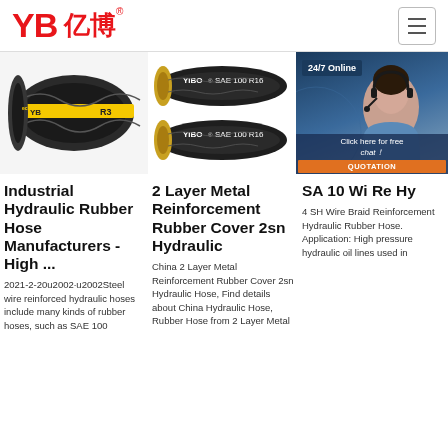[Figure (logo): YB亿博 company logo in red]
[Figure (photo): Industrial hydraulic rubber hose - black spiral hose with yellow stripe labeled R3]
[Figure (photo): Two YIBO SAE 100 R16 hydraulic hoses stacked]
[Figure (photo): Customer service representative with 24/7 Online overlay and chat/quotation buttons]
Industrial Hydraulic Rubber Hose Manufacturers - High ...
2021-2-20u2002·u2002Steel wire reinforced hydraulic hoses include many kinds of rubber hoses, such as SAE 100
2 Layer Metal Reinforcement Rubber Cover 2sn Hydraulic
China 2 Layer Metal Reinforcement Rubber Cover 2sn Hydraulic Hose, Find details about China Hydraulic Hose, Rubber Hose from 2 Layer Metal
SA 10 Wi Re Hy
4 SH Wire Braid Reinforcement Hydraulic Rubber Hose. Application: High pressure hydraulic oil lines used in